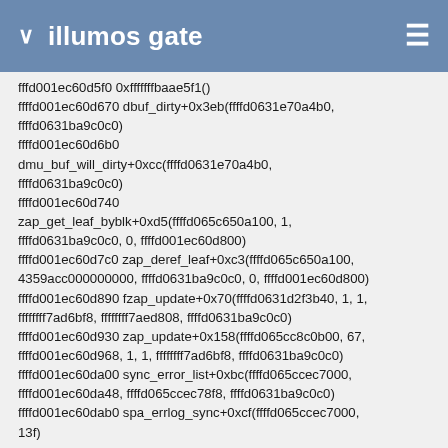illumos gate
fffd001ec60d5f0 0xfffffffbaae5f1()
fffd001ec60d670 dbuf_dirty+0x3eb(ffffd0631e70a4b0, ffffd0631ba9c0c0)
fffd001ec60d6b0 dmu_buf_will_dirty+0xcc(ffffd0631e70a4b0, ffffd0631ba9c0c0)
fffd001ec60d740 zap_get_leaf_byblk+0xd5(ffffd065c650a100, 1, ffffd0631ba9c0c0, 0, ffffd001ec60d800)
fffd001ec60d7c0 zap_deref_leaf+0xc3(ffffd065c650a100, 4359acc000000000, ffffd0631ba9c0c0, 0, ffffd001ec60d800)
fffd001ec60d890 fzap_update+0x70(ffffd0631d2f3b40, 1, 1, ffffffff7ad6bf8, ffffffff7aed808, ffffd0631ba9c0c0)
fffd001ec60d930 zap_update+0x158(ffffd065cc8c0b00, 67, ffffd001ec60d968, 1, 1, ffffffff7ad6bf8, ffffd0631ba9c0c0)
fffd001ec60da00 sync_error_list+0xbc(ffffd065ccec7000, ffffd001ec60da48, ffffd065ccec78f8, ffffd0631ba9c0c0)
fffd001ec60dab0 spa_errlog_sync+0xcf(ffffd065ccec7000, 13f)